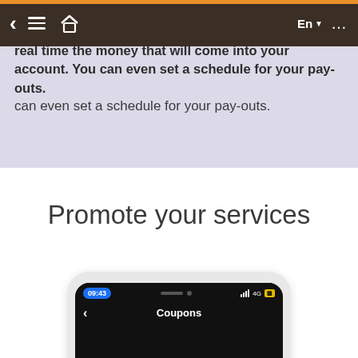Navigation bar with back, menu, home, language (En), and more options
how much you have in your Blackbell account that you can withdraw. Transferwise or Stripe. You see in real time the money that will come into your account. You can even set a schedule for your pay-outs.
Promote your services
[Figure (screenshot): Smartphone mockup showing a mobile app screen with time 09:43, 4G signal, and a 'Coupons' screen header]